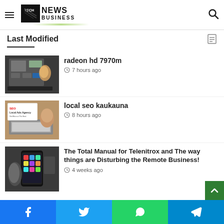Tech News Business
Last Modified
[Figure (photo): Laptop/computer hardware being serviced, hand touching components]
radeon hd 7970m
7 hours ago
[Figure (photo): SEO Local Ads Agency sign next to a laptop and coffee cup]
local seo kaukauna
8 hours ago
[Figure (photo): Person holding a smartphone with colorful app icons]
The Total Manual for Telenitrox and The way things are Disturbing the Remote Business!
4 weeks ago
Facebook Twitter WhatsApp Telegram